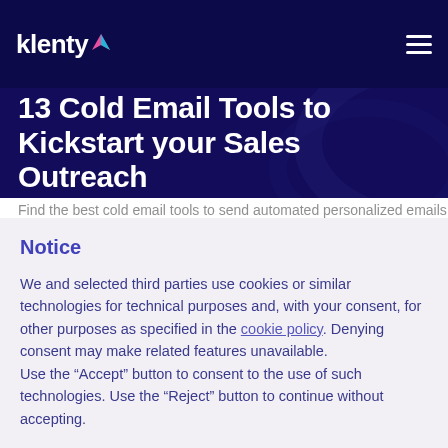klenty
13 Cold Email Tools to Kickstart your Sales Outreach
Notice
We and selected third parties use cookies or similar technologies for technical purposes and, with your consent, for other purposes as specified in the cookie policy. Denying consent may make related features unavailable.
Use the “Accept” button to consent to the use of such technologies. Use the “Reject” button to continue without accepting.
Reject
Accept
Learn more and customize